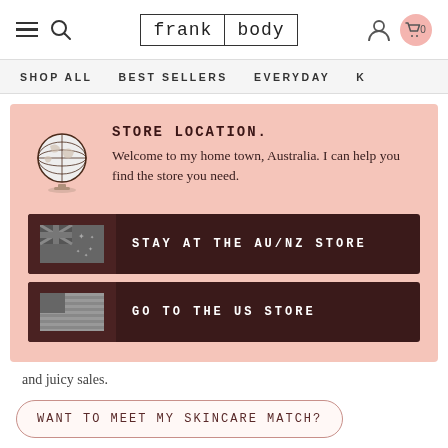frank body — navigation header with hamburger, search, logo, account, and cart (0)
SHOP ALL   BEST SELLERS   EVERYDAY   K…
STORE LOCATION.
Welcome to my home town, Australia. I can help you find the store you need.
STAY AT THE AU/NZ STORE
GO TO THE US STORE
and juicy sales.
WANT TO MEET MY SKINCARE MATCH?